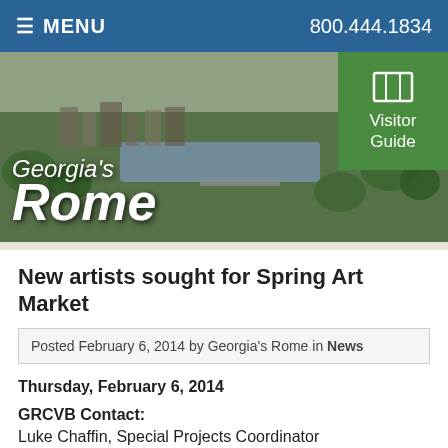MENU  800.444.1834
[Figure (photo): Aerial photo of Rome, Georgia cityscape with river and trees, overlaid with Georgia's Rome script logo. Green Visitor Guide button in top right corner.]
New artists sought for Spring Art Market
Posted February 6, 2014 by Georgia's Rome in News
Thursday, February 6, 2014
GRCVB Contact:
Luke Chaffin, Special Projects Coordinator
706.295.5576
luke@Rome...